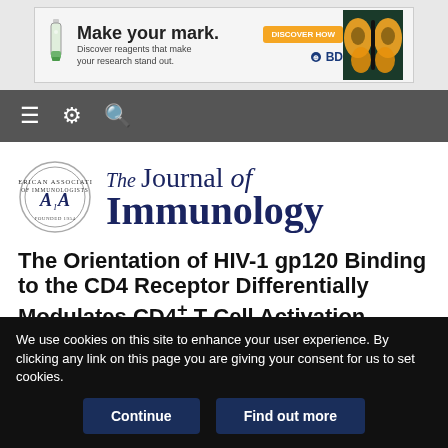[Figure (other): Advertisement banner: 'Make your mark. Discover reagents that make your research stand out.' with BD logo and butterfly image.]
[Figure (other): Navigation bar with hamburger menu, settings gear icon, and search magnifying glass icon on dark grey background.]
[Figure (logo): The Journal of Immunology logo with AAI circular seal emblem on the left and journal name text on the right.]
The Orientation of HIV-1 gp120 Binding to the CD4 Receptor Differentially Modulates CD4+ T Cell Activation
We use cookies on this site to enhance your user experience. By clicking any link on this page you are giving your consent for us to set cookies.